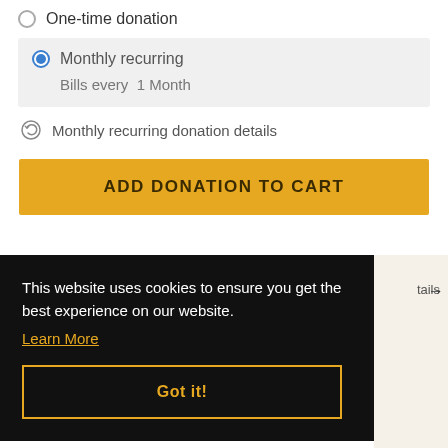One-time donation
Monthly recurring
Bills every 1 Month
Monthly recurring donation details
ADD DONATION TO CART
This website uses cookies to ensure you get the best experience on our website.
Learn More
Got it!